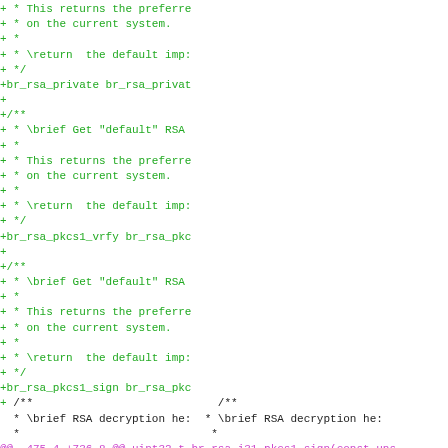[Figure (screenshot): A code diff view showing added lines (in green) with C code comments and function declarations for br_rsa_private, br_rsa_pkcs1_vrfy, and br_rsa_pkcs1_sign, plus context lines and a diff hunk header in magenta at the bottom.]